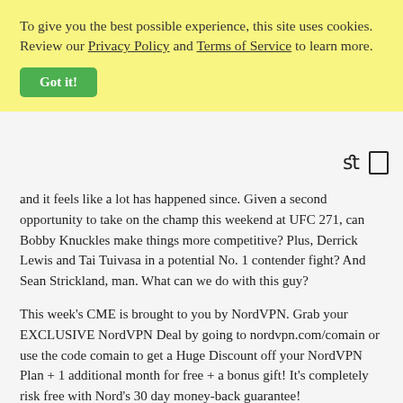To give you the best possible experience, this site uses cookies. Review our Privacy Policy and Terms of Service to learn more.
Got it!
and it feels like a lot has happened since. Given a second opportunity to take on the champ this weekend at UFC 271, can Bobby Knuckles make things more competitive? Plus, Derrick Lewis and Tai Tuivasa in a potential No. 1 contender fight? And Sean Strickland, man. What can we do with this guy?
This week's CME is brought to you by NordVPN. Grab your EXCLUSIVE NordVPN Deal by going to nordvpn.com/comain or use the code comain to get a Huge Discount off your NordVPN Plan + 1 additional month for free + a bonus gift! It's completely risk free with Nord's 30 day money-back guarantee!
Learn more about your ad choices. Visit megaphone.fm/adchoices